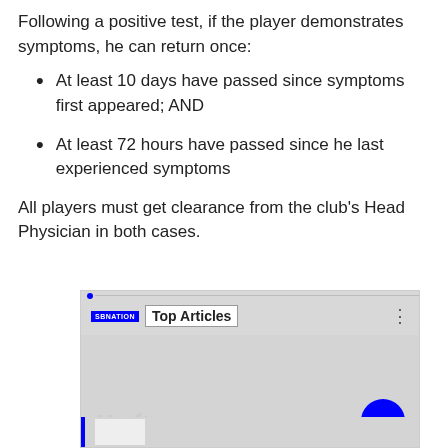Following a positive test, if the player demonstrates symptoms, he can return once:
At least 10 days have passed since symptoms first appeared; AND
At least 72 hours have passed since he last experienced symptoms
All players must get clearance from the club’s Head Physician in both cases.
[Figure (screenshot): Embedded video widget showing SBNation Top Articles player with pause, mute, and next arrow controls, and a progress bar at the bottom.]